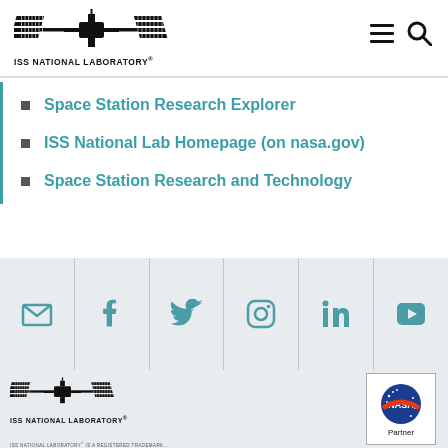[Figure (logo): ISS National Laboratory logo with space station graphic and text 'ISS NATIONAL LABORATORY®' in header]
Space Station Research Explorer
ISS National Lab Homepage (on nasa.gov)
Space Station Research and Technology
[Figure (infographic): Social media icon bar with email, Facebook, Twitter, Instagram, LinkedIn, and YouTube icons in teal on light gray background]
[Figure (logo): ISS National Laboratory logo (large) in footer area]
[Figure (logo): NASA Partner badge with NASA meatball logo and 'Partner' text in a white bordered box]
ISS NATIONAL LABORATORY® IS A REGISTERED TRADEMARK...